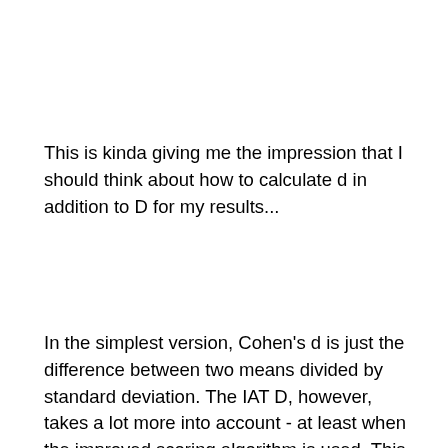This is kinda giving me the impression that I should think about how to calculate d in addition to D for my results...
In the simplest version, Cohen's d is just the difference between two means divided by standard deviation. The IAT D, however, takes a lot more into account - at least when the improved scoring algorithm is used. This is what I was going after in a previous question concerning the need for making a SPSS syntax for my ST-IAT; is your ST-IAT algorithm simply comparing the absolute latencies in the two relevant tasks or does it, for example, also calculate the mean latencies for some practice trials to get the latency scale for an individual user. The improved scoring algo does this, among other things, but I think the ST-IAT template doesn't. Does it, however, take too long latencies (+10000ms) or great number of errors into